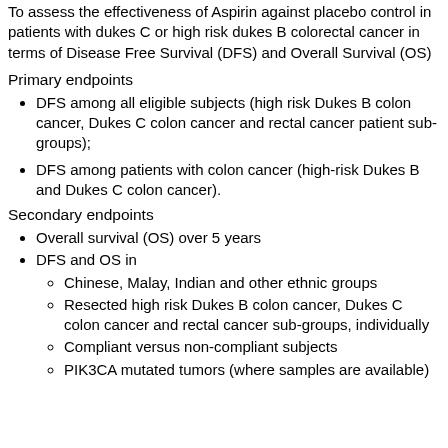To assess the effectiveness of Aspirin against placebo control in patients with dukes C or high risk dukes B colorectal cancer in terms of Disease Free Survival (DFS) and Overall Survival (OS)
Primary endpoints
DFS among all eligible subjects (high risk Dukes B colon cancer, Dukes C colon cancer and rectal cancer patient sub-groups);
DFS among patients with colon cancer (high-risk Dukes B and Dukes C colon cancer).
Secondary endpoints
Overall survival (OS) over 5 years
DFS and OS in
Chinese, Malay, Indian and other ethnic groups
Resected high risk Dukes B colon cancer, Dukes C colon cancer and rectal cancer sub-groups, individually
Compliant versus non-compliant subjects
PIK3CA mutated tumors (where samples are available)